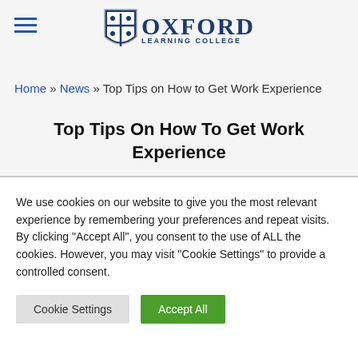Oxford Learning College
Home » News » Top Tips on How to Get Work Experience
Top Tips On How To Get Work Experience
We use cookies on our website to give you the most relevant experience by remembering your preferences and repeat visits. By clicking "Accept All", you consent to the use of ALL the cookies. However, you may visit "Cookie Settings" to provide a controlled consent.